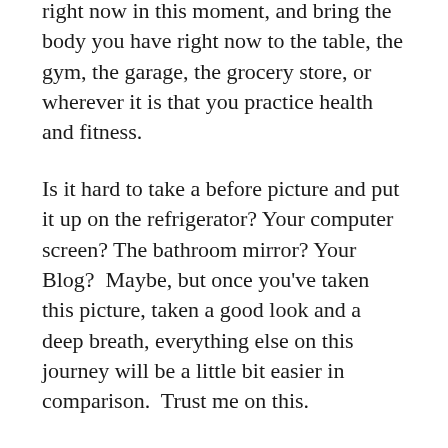right now in this moment, and bring the body you have right now to the table, the gym, the garage, the grocery store, or wherever it is that you practice health and fitness.
Is it hard to take a before picture and put it up on the refrigerator? Your computer screen? The bathroom mirror? Your Blog?  Maybe, but once you've taken this picture, taken a good look and a deep breath, everything else on this journey will be a little bit easier in comparison.  Trust me on this.
Here is my affiliate link to the Turbulence Training For Fat Loss program for any of you who wish to buy it in order along.